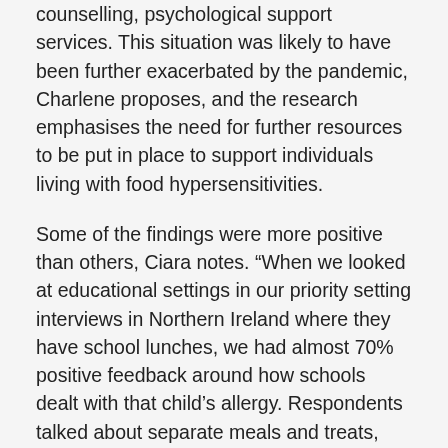counselling, psychological support services. This situation was likely to have been further exacerbated by the pandemic, Charlene proposes, and the research emphasises the need for further resources to be put in place to support individuals living with food hypersensitivities.
Some of the findings were more positive than others, Ciara notes. “When we looked at educational settings in our priority setting interviews in Northern Ireland where they have school lunches, we had almost 70% positive feedback around how schools dealt with that child’s allergy. Respondents talked about separate meals and treats, having allergen action plans in place, teacher training and awareness, and knowledge of adrenaline auto-injectors (AAIs).”
This approach may be due to the guidance provided by the government. “The Department of Education in Northern Ireland has produced a comprehensive document for schools, containing